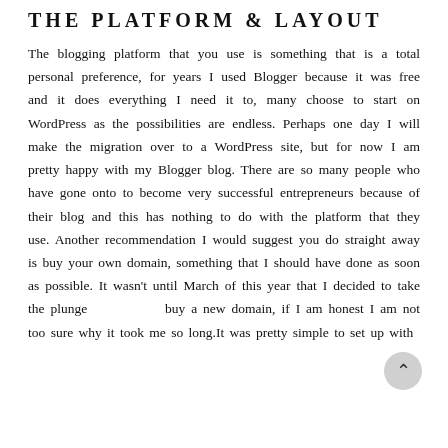THE PLATFORM & LAYOUT
The blogging platform that you use is something that is a total personal preference, for years I used Blogger because it was free and it does everything I need it to, many choose to start on WordPress as the possibilities are endless. Perhaps one day I will make the migration over to a WordPress site, but for now I am pretty happy with my Blogger blog. There are so many people who have gone onto to become very successful entrepreneurs because of their blog and this has nothing to do with the platform that they use. Another recommendation I would suggest you do straight away is buy your own domain, something that I should have done as soon as possible. It wasn't until March of this year that I decided to take the plunge and buy a new domain, if I am honest I am not too sure why it took me so long.It was pretty simple to set up with